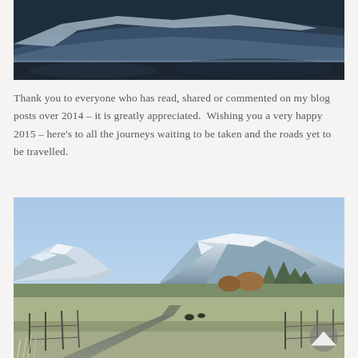[Figure (photo): Snowy hillside landscape in winter, muted tones of grey-blue and white frost covering rocky terrain and grass]
Thank you to everyone who has read, shared or commented on my blog posts over 2014 – it is greatly appreciated.  Wishing you a very happy 2015 – here's to all the journeys waiting to be taken and the roads yet to be travelled.
[Figure (photo): Winter landscape with a winding road in the foreground, frost-covered fields, fence posts, mountains with snow-capped peaks under a clear blue sky]